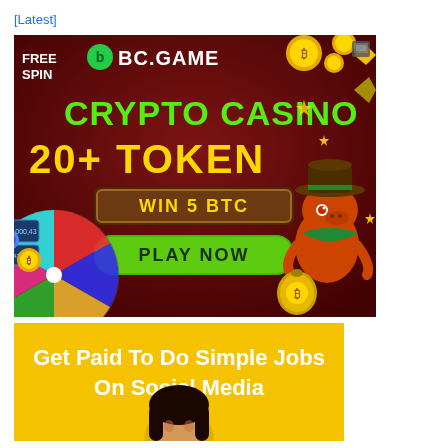[Latest]
[Figure (illustration): BC.GAME crypto casino advertisement banner with dark red background. Shows 'FREE SPIN' text top left, BC.GAME logo with green icon, 'CRYPTO CASINO 20+ TOKEN' in green and yellow text, 'WIN 5 BTC' button, 'PLAY NOW' green button, a spinning wheel with crypto tokens on the left, a cartoon dinosaur cowboy character on the right, and gold coins/gems decorating the top.]
[Figure (illustration): Yellow advertisement banner with text 'Get Paid To Do Simple Jobs On Social Media' in white bold text, and a partial image of a woman's face/head at the bottom.]